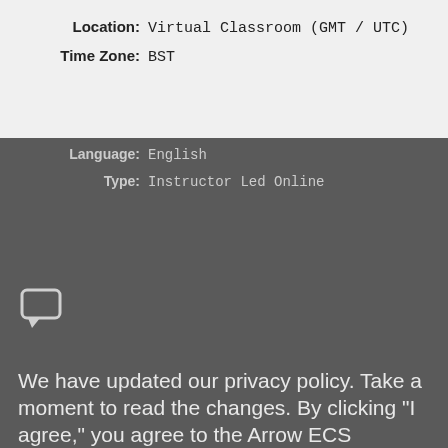Location: Virtual Classroom (GMT / UTC)
Time Zone: BST
Language: English
Type: Instructor Led Online
We have updated our privacy policy. Take a moment to read the changes. By clicking "I agree," you agree to the Arrow ECS Education Privacy Policy and Terms and Conditions.
PRICE: kr 19 300,00
Add to Cart
Date: 27 o... I agree
Location: Virtual Classroom (GMT / UTC)
See the short policy